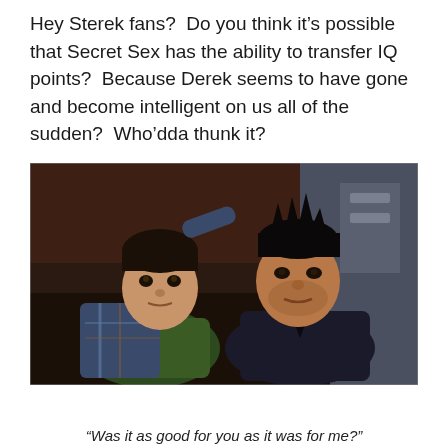Hey Sterek fans?  Do you think it's possible that Secret Sex has the ability to transfer IQ points?  Because Derek seems to have gone and become intelligent on us all of the sudden?  Who'dda thunk it?
[Figure (photo): Two young men lying on the floor looking up at the camera. The one on the left wears a green shirt and plaid jacket, and the one on the right wears a dark jacket with spiked hair.]
“Was it as good for you as it was for me?”